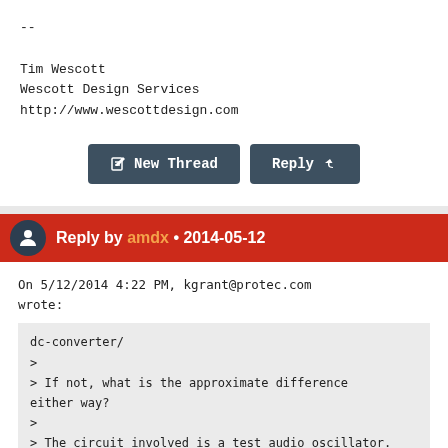--

Tim Wescott
Wescott Design Services
http://www.wescottdesign.com
[Figure (screenshot): Two buttons: 'New Thread' and 'Reply' in dark teal/slate color]
Reply by amdx • 2014-05-12
On 5/12/2014 4:22 PM, kgrant@protec.com wrote:
dc-converter/
>
> If not, what is the approximate difference either way?
>
> The circuit involved is a test audio oscillator.
>
> Would be nice if they made more handheld cases